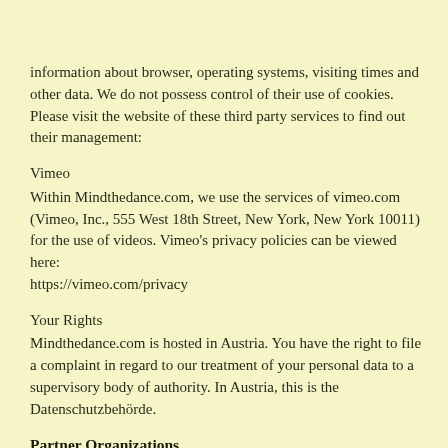information about browser, operating systems, visiting times and other data. We do not possess control of their use of cookies. Please visit the website of these third party services to find out their management:
Vimeo
Within Mindthedance.com, we use the services of vimeo.com (Vimeo, Inc., 555 West 18th Street, New York, New York 10011) for the use of videos. Vimeo's privacy policies can be viewed here: https://vimeo.com/privacy
Your Rights
Mindthedance.com is hosted in Austria. You have the right to file a complaint in regard to our treatment of your personal data to a supervisory body of authority. In Austria, this is the Datenschutzbehörde.
Partner Organizations